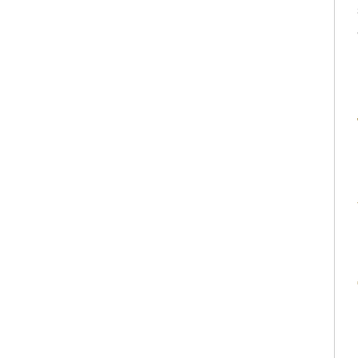stud
arou
What do you use for a mailing list
Instead of using Ubuntu Mailing Lists we use the Laur